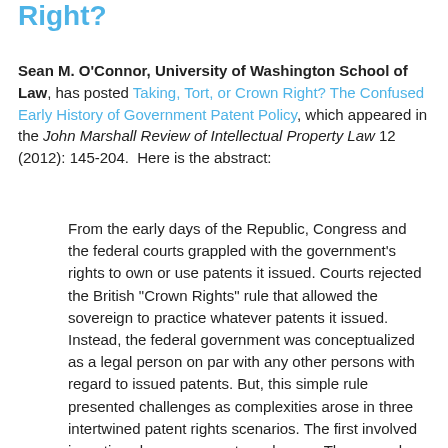Right?
Sean M. O'Connor, University of Washington School of Law, has posted Taking, Tort, or Crown Right? The Confused Early History of Government Patent Policy, which appeared in the John Marshall Review of Intellectual Property Law 12 (2012): 145-204. Here is the abstract:
From the early days of the Republic, Congress and the federal courts grappled with the government's rights to own or use patents it issued. Courts rejected the British "Crown Rights" rule that allowed the sovereign to practice whatever patents it issued. Instead, the federal government was conceptualized as a legal person on par with any other persons with regard to issued patents. But, this simple rule presented challenges as complexities arose in three intertwined patent rights scenarios. The first involved inventions by government employees. The second revolved around government and government contractor use of patents held by